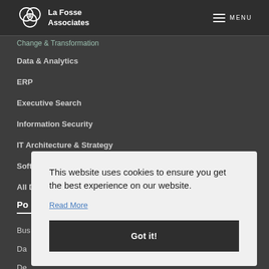La Fosse Associates | MENU
Change & Transformation
Data & Analytics
ERP
Executive Search
Information Security
IT Architecture & Strategy
Software Engineering
All Disciplines
Po
Bus
Da
De
En
This website uses cookies to ensure you get the best experience on our website.
Read More
Got it!